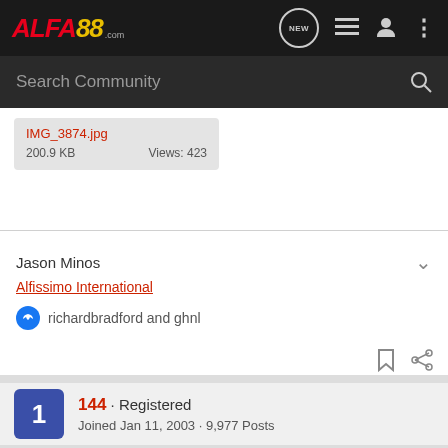ALFA88 .com
Search Community
IMG_3874.jpg
200.9 KB    Views: 423
Jason Minos
Alfissimo International
👍 richardbradford and ghnl
144 · Registered
Joined Jan 11, 2003 · 9,977 Posts
#6 · Aug 7, 2018
When could the obj...